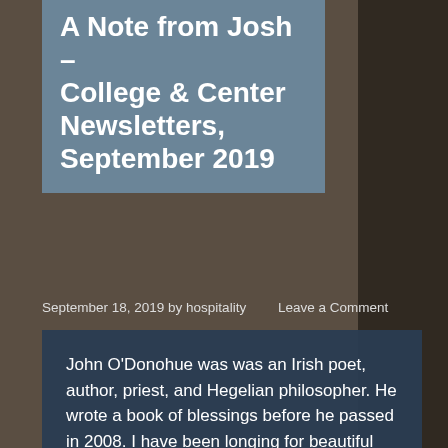A Note from Josh – College & Center Newsletters, September 2019
September 18, 2019 by hospitality    Leave a Comment
John O'Donohue was was an Irish poet, author, priest, and Hegelian philosopher. He wrote a book of blessings before he passed in 2008. I have been longing for beautiful words of hope and healing in the midst of so many other words in our world today. I have found a bit of what I am looking for in O'Donohue's blessings; perhaps you will too. Consider his blessing For a New Beginning at the start of another season of life.